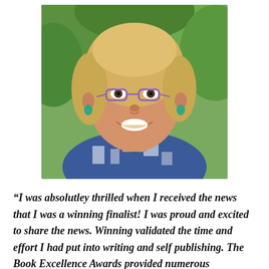[Figure (photo): Smiling middle-aged woman with blonde hair and purple glasses, wearing teal/green earrings and a blue and white patterned top, photographed outdoors with green foliage in the background.]
“I was absolutley thrilled when I received the news that I was a winning finalist! I was proud and excited to share the news. Winning validated the time and effort I had put into writing and self publishing. The Book Excellence Awards provided numerous advantages that far exceeded other programs. The acceptance of self